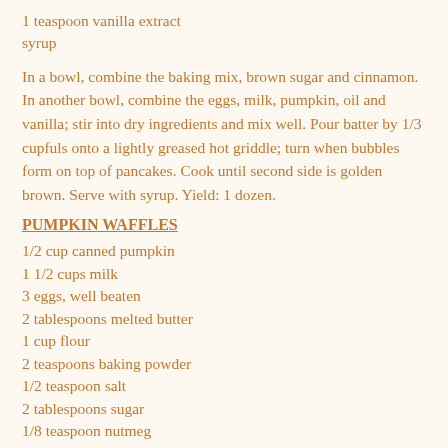1 teaspoon vanilla extract
syrup
In a bowl, combine the baking mix, brown sugar and cinnamon. In another bowl, combine the eggs, milk, pumpkin, oil and vanilla; stir into dry ingredients and mix well. Pour batter by 1/3 cupfuls onto a lightly greased hot griddle; turn when bubbles form on top of pancakes. Cook until second side is golden brown. Serve with syrup. Yield: 1 dozen.
PUMPKIN WAFFLES
1/2 cup canned pumpkin
1 1/2 cups milk
3 eggs, well beaten
2 tablespoons melted butter
1 cup flour
2 teaspoons baking powder
1/2 teaspoon salt
2 tablespoons sugar
1/8 teaspoon nutmeg